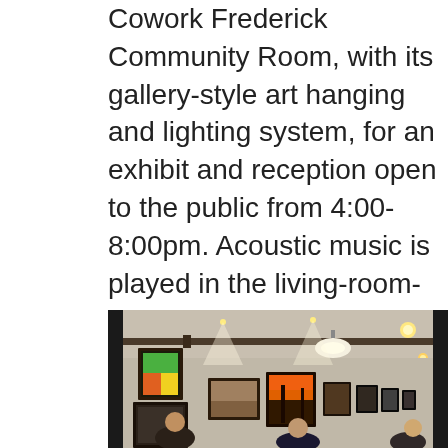Cowork Frederick Community Room, with its gallery-style art hanging and lighting system, for an exhibit and reception open to the public from 4:00-8:00pm. Acoustic music is played in the living-room-style room at the front of the building from 5:00-7:00pm. Poetry readings can be heard from 7:30-8:00pm. “It’s not unusual for 100 people to come through our doors for Frederick Artist Night and we’ve seen as many as 200”, says Julia Ferguson who organizes the event.
In ex ch an ge
[Figure (photo): Interior of Cowork Frederick Community Room showing gallery-style art hanging on walls with spotlights, framed paintings visible including colorful artworks, people visible in the lower portion of the image, ceiling with exposed beams and pendant lighting.]